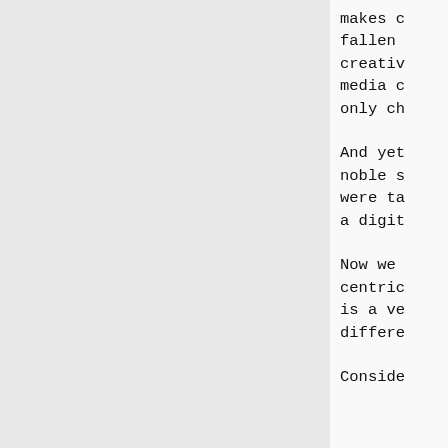makes c fallen creativ media c only ch
And yet noble s were ta a digit
Now we centric is a ve differe
Conside